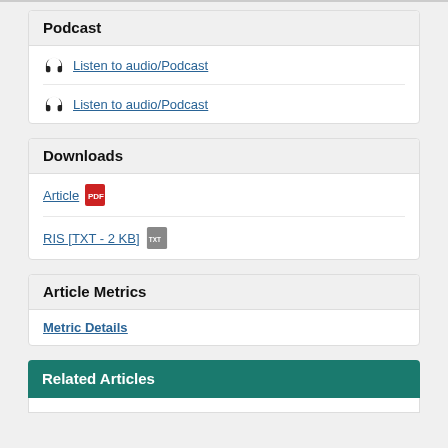Podcast
Listen to audio/Podcast
Listen to audio/Podcast
Downloads
Article
RIS [TXT - 2 KB]
Article Metrics
Metric Details
Related Articles